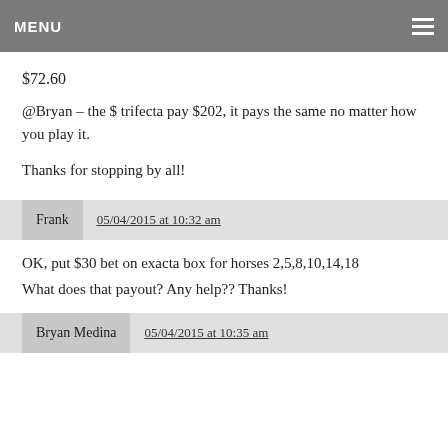MENU
$72.60
@Bryan – the $ trifecta pay $202, it pays the same no matter how you play it.
Thanks for stopping by all!
Frank  05/04/2015 at 10:32 am
OK, put $30 bet on exacta box for horses 2,5,8,10,14,18
What does that payout? Any help?? Thanks!
Bryan Medina  05/04/2015 at 10:35 am